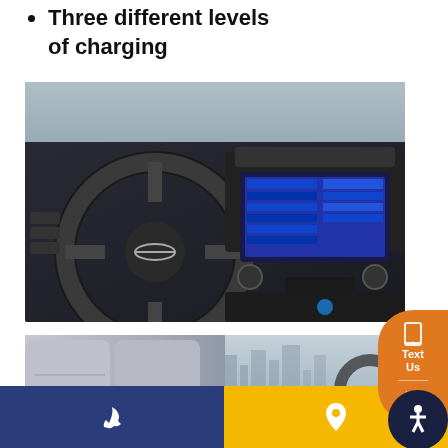Three different levels of charging
[Figure (photo): Interior photo of a Nissan LEAF showing the dashboard, steering wheel with Nissan logo, digital instrument cluster, touchscreen infotainment system, HVAC controls, and center console with charging port connector visible]
[Figure (photo): Interior photo showing white/light grey seats of a vehicle with city skyline visible through the windshield, and steering wheel in background]
[Figure (infographic): Orange pill-shaped button on right edge with phone/text icon and text 'Text Us', with an orange circle phone icon below and a dark navy accessibility icon]
[Figure (infographic): Bottom navigation bar: left half dark blue with white phone icon, right half yellow/gold with white location pin icon]